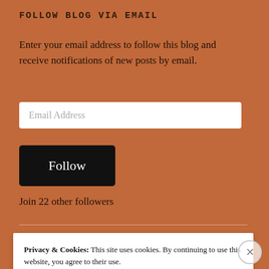FOLLOW BLOG VIA EMAIL
Enter your email address to follow this blog and receive notifications of new posts by email.
Email Address
Follow
Join 22 other followers
Privacy & Cookies: This site uses cookies. By continuing to use this website, you agree to their use.
To find out more, including how to control cookies, see here: Cookie Policy
Close and accept